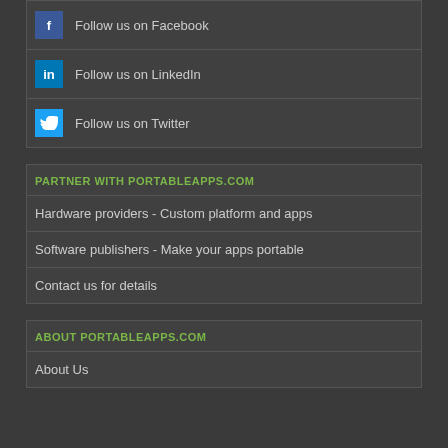Follow us on Facebook
Follow us on LinkedIn
Follow us on Twitter
PARTNER WITH PORTABLEAPPS.COM
Hardware providers - Custom platform and apps
Software publishers - Make your apps portable
Contact us for details
ABOUT PORTABLEAPPS.COM
About Us